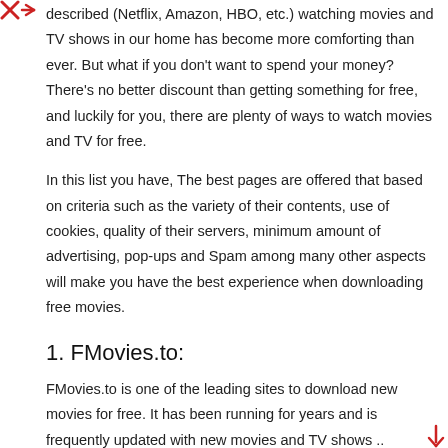described (Netflix, Amazon, HBO, etc.) watching movies and TV shows in our home has become more comforting than ever. But what if you don't want to spend your money? There's no better discount than getting something for free, and luckily for you, there are plenty of ways to watch movies and TV for free.
In this list you have, The best pages are offered that based on criteria such as the variety of their contents, use of cookies, quality of their servers, minimum amount of advertising, pop-ups and Spam among many other aspects will make you have the best experience when downloading free movies.
1. FMovies.to:
FMovies.to is one of the leading sites to download new movies for free. It has been running for years and is frequently updated with new movies and TV shows .. F95zone offers HD online viewing and downloading functions from not just one, but 2 or three